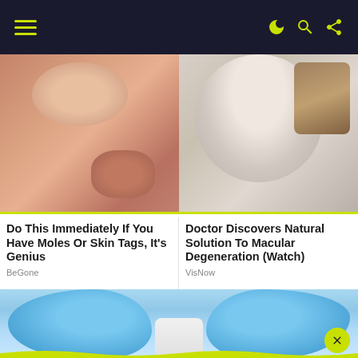Navigation bar with hamburger menu and icons
[Figure (photo): Close-up photo of skin showing moles or skin tags on a person's neck/face area]
[Figure (photo): Close-up photo of a woman's face with light skin, related to macular degeneration article]
Do This Immediately If You Have Moles Or Skin Tags, It's Genius
BeGone
Doctor Discovers Natural Solution To Macular Degeneration (Watch)
VisNow
[Figure (photo): Medical gloved hands applying or removing a bandage/patch on skin]